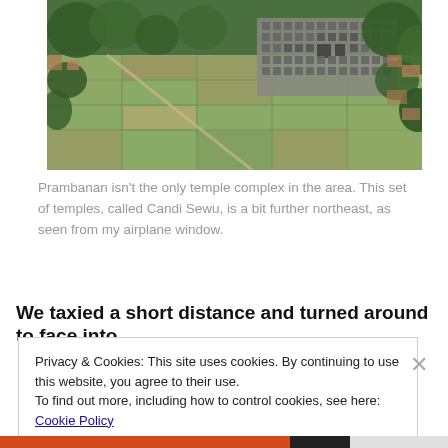[Figure (photo): Aerial photograph of Candi Sewu temple complex surrounded by agricultural fields and vegetation, viewed from an airplane window.]
Prambanan isn't the only temple complex in the area. This set of temples, called Candi Sewu, is a bit further northeast, as seen from my airplane window.
We taxied a short distance and turned around to face into
Privacy & Cookies: This site uses cookies. By continuing to use this website, you agree to their use.
To find out more, including how to control cookies, see here: Cookie Policy
Close and accept